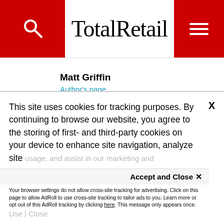TotalRetail
Matt Griffin
Author's page
RELATED CONTENT
This site uses cookies for tracking purposes. By continuing to browse our website, you agree to the storing of first- and third-party cookies on your device to enhance site navigation, analyze site usage, and assist in our marketing and
Accept and Close ✕
Your browser settings do not allow cross-site tracking for advertising. Click on this page to allow AdRoll to use cross-site tracking to tailor ads to you. Learn more or opt out of this AdRoll tracking by clicking here. This message only appears once.